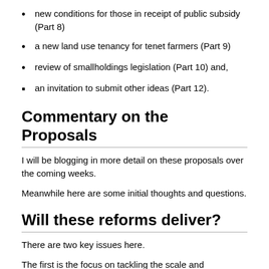new conditions for those in receipt of public subsidy (Part 8)
a new land use tenancy for tenet farmers (Part 9)
review of smallholdings legislation (Part 10) and,
an invitation to submit other ideas (Part 12).
Commentary on the Proposals
I will be blogging in more detail on these proposals over the coming weeks.
Meanwhile here are some initial thoughts and questions.
Will these reforms deliver?
There are two key issues here.
The first is the focus on tackling the scale and concentration of landownership in Scotland. The Minister states in her introduction